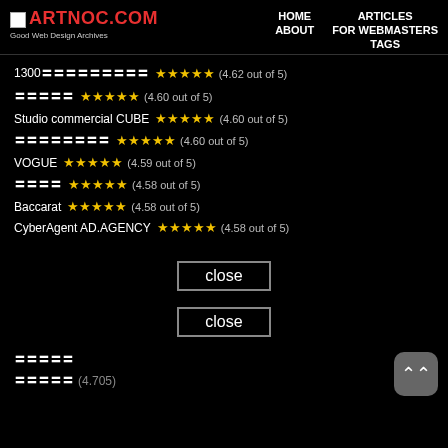ARTNOC.COM — Good Web Design Archives | HOME ABOUT TAGS FOR WEBMASTERS ARTICLES
1300〓〓〓〓〓〓〓〓〓 ★★★★★ (4.62 out of 5)
〓〓〓〓〓 ★★★★★ (4.60 out of 5)
Studio commercial CUBE ★★★★★ (4.60 out of 5)
〓〓〓〓〓〓〓〓 ★★★★★ (4.60 out of 5)
VOGUE ★★★★★ (4.59 out of 5)
〓〓〓〓 ★★★★★ (4.58 out of 5)
Baccarat ★★★★★ (4.58 out of 5)
CyberAgent AD.AGENCY ★★★★★ (4.58 out of 5)
close
close
〓〓〓〓〓
〓〓〓〓〓 (4.705)